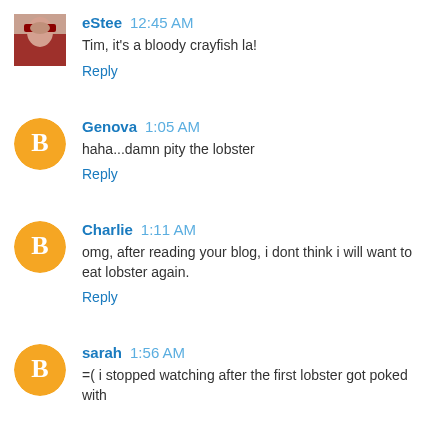eStee  12:45 AM
Tim, it's a bloody crayfish la!
Reply
Genova  1:05 AM
haha...damn pity the lobster
Reply
Charlie  1:11 AM
omg, after reading your blog, i dont think i will want to eat lobster again.
Reply
sarah  1:56 AM
=( i stopped watching after the first lobster got poked with